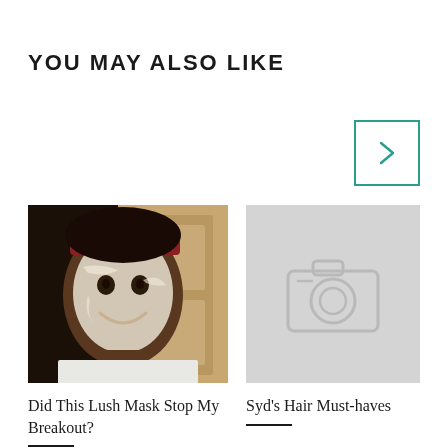YOU MAY ALSO LIKE
[Figure (photo): Navigation next arrow button with teal border]
[Figure (photo): Photo of a smiling person with a white face mask and red headband wearing a white tank top]
Did This Lush Mask Stop My Breakout?
7 comments
[Figure (photo): Gray placeholder image with a camera icon]
Syd's Hair Must-haves